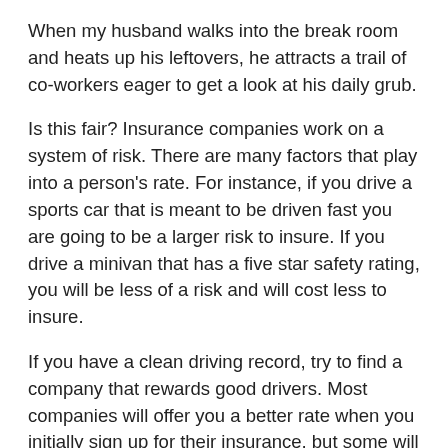When my husband walks into the break room and heats up his leftovers, he attracts a trail of co-workers eager to get a look at his daily grub.
Is this fair? Insurance companies work on a system of risk. There are many factors that play into a person's rate. For instance, if you drive a sports car that is meant to be driven fast you are going to be a larger risk to insure. If you drive a minivan that has a five star safety rating, you will be less of a risk and will cost less to insure.
If you have a clean driving record, try to find a company that rewards good drivers. Most companies will offer you a better rate when you initially sign up for their insurance, but some will give you better rates as the years pass just for having a clean driving record.
Buying your Asuransi Perjalanan online will almost always